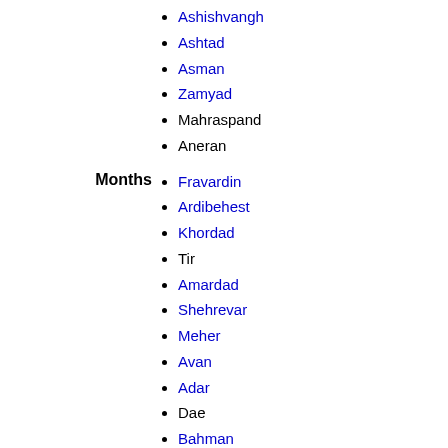Ashishvangh
Ashtad
Asman
Zamyad
Mahraspand
Aneran
Months
Fravardin
Ardibehest
Khordad
Tir
Amardad
Shehrevar
Meher
Avan
Adar
Dae
Bahman
Aspandarmad
Festivals
Gambhars
Nowruz
Pateti
Khordad Sal
Zartosht No-Diso